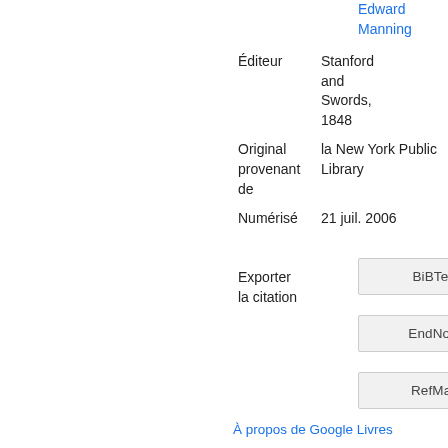Edward Manning
| Éditeur | Stanford and Swords, 1848 |
| Original provenant de | la New York Public Library |
| Numérisé | 21 juil. 2006 |
Exporter la citation
BiBTeX
EndNote
RefMan
À propos de Google Livres